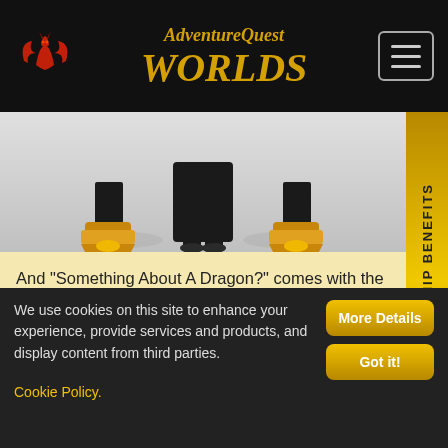AdventureQuest Worlds
[Figure (screenshot): Character feet/boots in gold armor against a grey gradient background]
And "Something About A Dragon?" comes with the Metal Sneevil Non-Member Pet and maybe some stuff in the other games. I'm not sure on that part.
[Figure (illustration): Metal Sneevil creature - a dark cloaked green dragon-like creature against a dark grey background]
We use cookies on this site to enhance your experience, provide services and products, and display content from third parties. Cookie Policy.